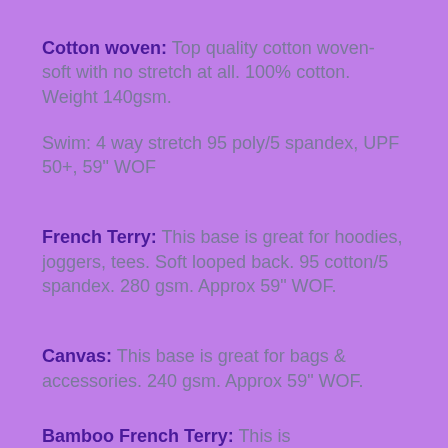Cotton woven: Top quality cotton woven- soft with no stretch at all. 100% cotton. Weight 140gsm.
Swim: 4 way stretch 95 poly/5 spandex, UPF 50+, 59" WOF
French Terry: This base is great for hoodies, joggers, tees. Soft looped back. 95 cotton/5 spandex. 280 gsm. Approx 59" WOF.
Canvas: This base is great for bags & accessories. 240 gsm. Approx 59" WOF.
Bamboo French Terry: This is...